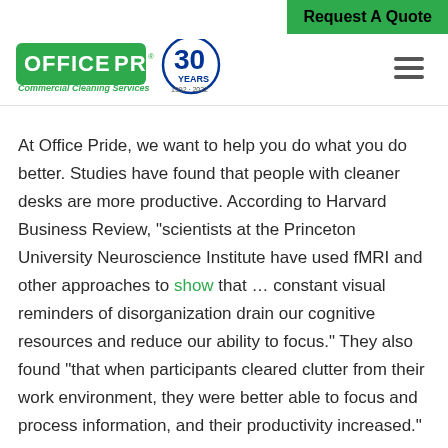Request A Quote
[Figure (logo): Office Pride Commercial Cleaning Services logo with 30 Years anniversary badge (1992-2022)]
At Office Pride, we want to help you do what you do better. Studies have found that people with cleaner desks are more productive. According to Harvard Business Review, "scientists at the Princeton University Neuroscience Institute have used fMRI and other approaches to show that … constant visual reminders of disorganization drain our cognitive resources and reduce our ability to focus." They also found "that when participants cleared clutter from their work environment, they were better able to focus and process information, and their productivity increased." Office Pride Commercial Cleaning Services can help...